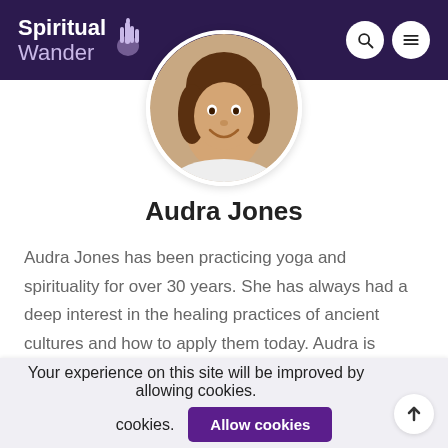Spiritual Wander
[Figure (photo): Circular profile photo of Audra Jones, a smiling woman with dark hair]
Audra Jones
Audra Jones has been practicing yoga and spirituality for over 30 years. She has always had a deep interest in the healing practices of ancient cultures and how to apply them today. Audra is skilled at using her intuition and understanding of energy to create sacred spaces that promote
Your experience on this site will be improved by allowing cookies.